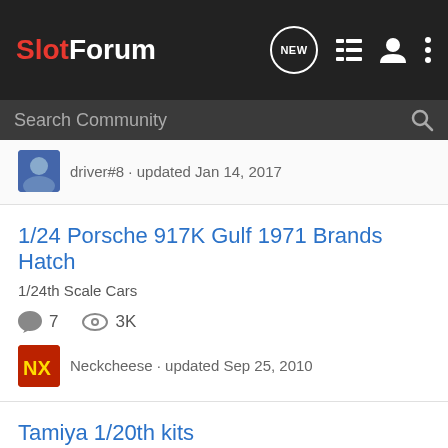SlotForum - navigation header with NEW, list, user, and menu icons
Search Community
driver#8 · updated Jan 14, 2017
1/24 Porsche 917K Gulf 1971 Brands Hatch
1/24th Scale Cars
7 comments, 3K views
Neckcheese · updated Sep 25, 2010
Tamiya 1/20th kits
1/24th Scale Cars
11 comments, 4K views
jimk04 · updated Aug 1, 2011